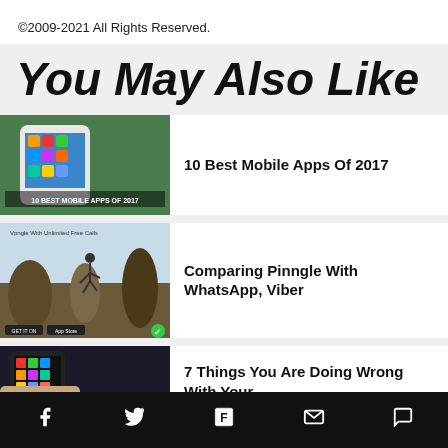©2009-2021 All Rights Reserved.
You May Also Like
[Figure (photo): Hand holding smartphone showing app icons, labeled 10 BEST MOBILE APPS OF 2017]
10 Best Mobile Apps Of 2017
[Figure (photo): Person running in a scenic landscape, Pinngle app promotional image with Google Play and App Store badges]
Comparing Pinngle With WhatsApp, Viber
[Figure (photo): Hand holding smartphone, partial image]
7 Things You Are Doing Wrong With Your
f  twitter  flipboard  mail  comment